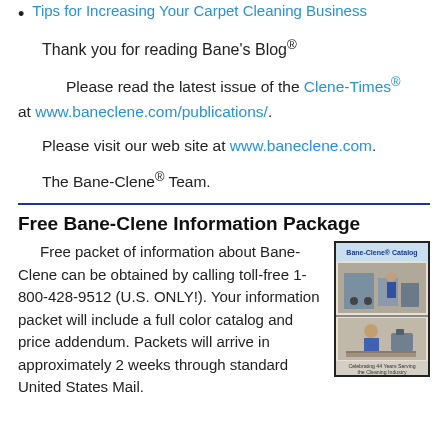Tips for Increasing Your Carpet Cleaning Business
Thank you for reading Bane's Blog®
Please read the latest issue of the Clene-Times® at www.baneclene.com/publications/.
Please visit our web site at www.baneclene.com.
The Bane-Clene® Team.
Free Bane-Clene Information Package
Free packet of information about Bane-Clene can be obtained by calling toll-free 1-800-428-9512 (U.S. ONLY!). Your information packet will include a full color catalog and price addendum. Packets will arrive in approximately 2 weeks through standard United States Mail.
[Figure (photo): Bane-Clene catalog cover showing cleaning industry imagery with caption 'Celebrating 44 Years Serving the Cleaning Industry']